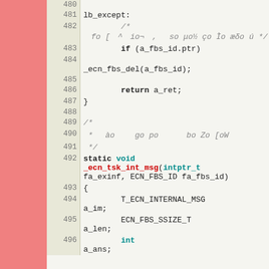Source code listing lines 480-496 showing C code with lb_except label, conditional check if (a_fbs_id.ptr), _ecn_fbs_del call, return statement, closing brace, comment block, static void _ecn_tsk_int_msg function definition with parameters intptr_t fa_exinf and ECN_FBS_ID fa_fbs_id, and local variable declarations T_ECN_INTERNAL_MSG a_im, ECN_FBS_SSIZE_T a_len, int a_ans.